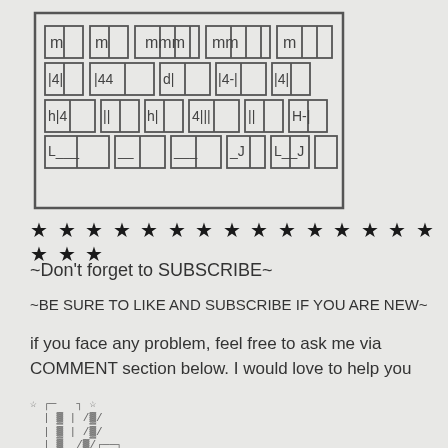[Figure (other): ASCII/Unicode art logo made of box-drawing characters forming a rectangular decorative banner]
★ ★ ★ ★ ★ ★ ★ ★ ★ ★ ★ ★ ★ ★ ★ ★ ★ ★
~Don't forget to SUBSCRIBE~
~BE SURE TO LIKE AND SUBSCRIBE IF YOU ARE NEW~
if you face any problem, feel free to ask me via COMMENT section below. I would love to help you
[Figure (other): ASCII/Unicode art decorative graphic with box-drawing characters forming a small tree or folder structure with stars]